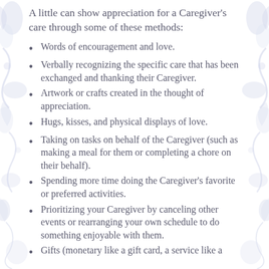A little can show appreciation for a Caregiver's care through some of these methods:
Words of encouragement and love.
Verbally recognizing the specific care that has been exchanged and thanking their Caregiver.
Artwork or crafts created in the thought of appreciation.
Hugs, kisses, and physical displays of love.
Taking on tasks on behalf of the Caregiver (such as making a meal for them or completing a chore on their behalf).
Spending more time doing the Caregiver's favorite or preferred activities.
Prioritizing your Caregiver by canceling other events or rearranging your own schedule to do something enjoyable with them.
Gifts (monetary like a gift card, a service like a